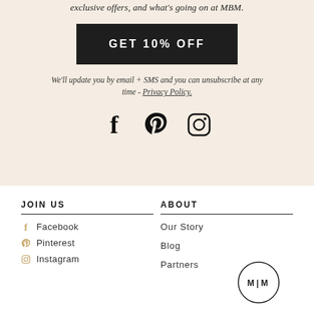exclusive offers, and what's going on at MBM.
GET 10% OFF
We'll update you by email + SMS and you can unsubscribe at any time - Privacy Policy.
[Figure (illustration): Social media icons: Facebook (f), Pinterest (P), Instagram (camera)]
JOIN US
Facebook
Pinterest
Instagram
ABOUT
Our Story
Blog
Partners
[Figure (logo): M|M circular logo]